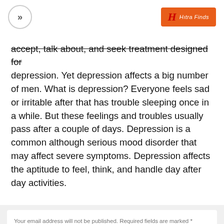>> | Hıtra Finds
accept, talk about, and seek treatment designed for depression. Yet depression affects a big number of men. What is depression? Everyone feels sad or irritable after that has trouble sleeping once in a while. But these feelings and troubles usually pass after a couple of days. Depression is a common although serious mood disorder that may affect severe symptoms. Depression affects the aptitude to feel, think, and handle day after day activities.
Your email address will not be published. Required fields are marked *
Comment*
Name *